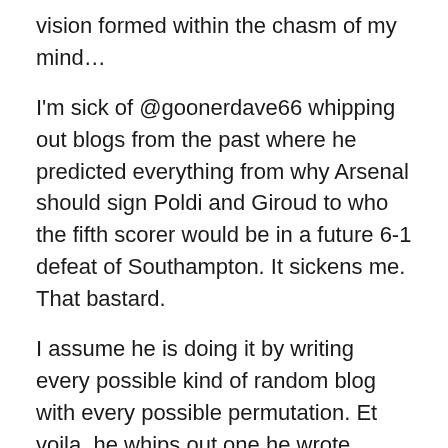vision formed within the chasm of my mind…
I'm sick of @goonerdave66 whipping out blogs from the past where he predicted everything from why Arsenal should sign Poldi and Giroud to who the fifth scorer would be in a future 6-1 defeat of Southampton. It sickens me. That bastard.
I assume he is doing it by writing every possible kind of random blog with every possible permutation. Et voila, he whips out one he wrote earlier. It pisses me off.
Anyway, my nose was well and truly out of joint recently, and so I fell upon a cunning plan. Rumours that Dave kept a Crystal Ball next to his bed haunted my waking dreams.
And so I shimmied up his drain pipe (Oi Oi!) in the dead of night, stole into his bedroom, rummaged around his dusty